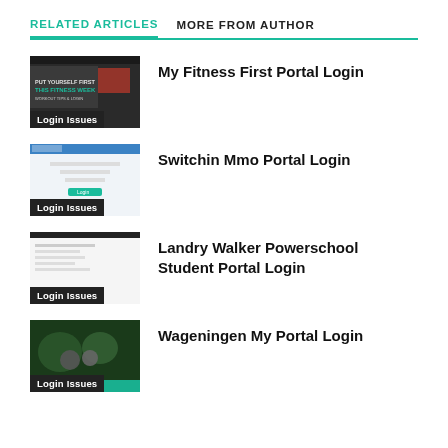RELATED ARTICLES   MORE FROM AUTHOR
My Fitness First Portal Login
Switchin Mmo Portal Login
Landry Walker Powerschool Student Portal Login
Wageningen My Portal Login